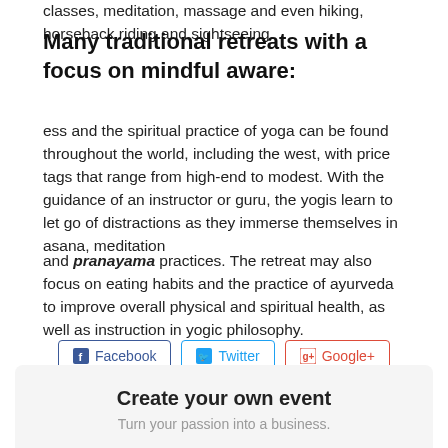classes, meditation, massage and even hiking, horseback riding and sightseeing.
Many traditional retreats with a focus on mindful aware:
ess and the spiritual practice of yoga can be found throughout the world, including the west, with price tags that range from high-end to modest. With the guidance of an instructor or guru, the yogis learn to let go of distractions as they immerse themselves in asana, meditation
and pranayama practices. The retreat may also focus on eating habits and the practice of ayurveda to improve overall physical and spiritual health, as well as instruction in yogic philosophy.
[Figure (other): Social sharing buttons for Facebook, Twitter, and Google+]
Create your own event
Turn your passion into a business.